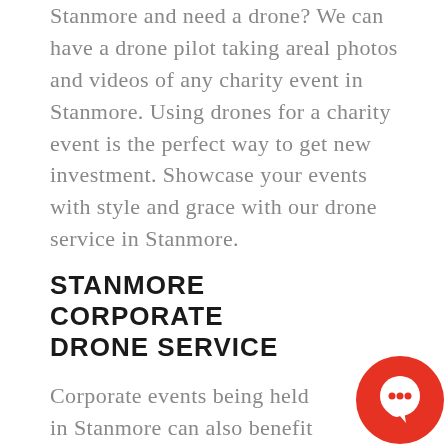Stanmore and need a drone? We can have a drone pilot taking areal photos and videos of any charity event in Stanmore. Using drones for a charity event is the perfect way to get new investment. Showcase your events with style and grace with our drone service in Stanmore.
STANMORE CORPORATE DRONE SERVICE
Corporate events being held in Stanmore can also benefit from using our services...
[Figure (illustration): Red circular chat bubble icon with white speech bubble symbol, positioned in bottom-right corner]